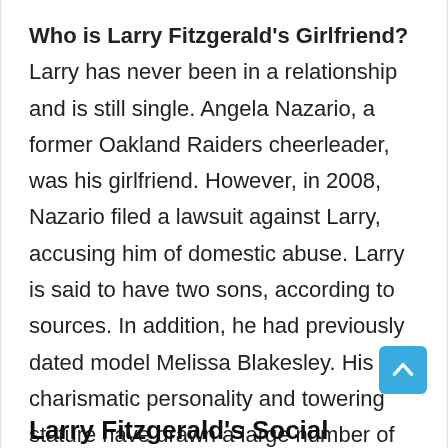Who is Larry Fitzgerald's Girlfriend? Larry has never been in a relationship and is still single. Angela Nazario, a former Oakland Raiders cheerleader, was his girlfriend. However, in 2008, Nazario filed a lawsuit against Larry, accusing him of domestic abuse. Larry is said to have two sons, according to sources. In addition, he had previously dated model Melissa Blakesley. His charismatic personality and towering stature have drawn a large number of admirers.
Larry Fitzgerald's Social